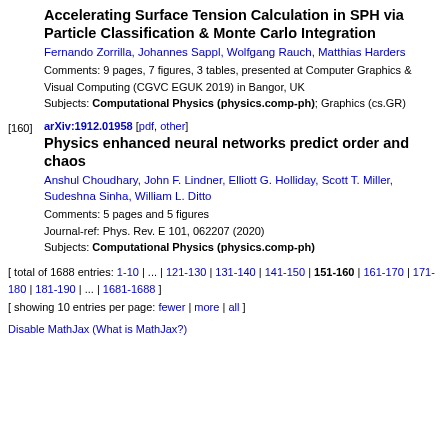Accelerating Surface Tension Calculation in SPH via Particle Classification & Monte Carlo Integration
Fernando Zorrilla, Johannes Sappl, Wolfgang Rauch, Matthias Harders
Comments: 9 pages, 7 figures, 3 tables, presented at Computer Graphics & Visual Computing (CGVC EGUK 2019) in Bangor, UK
Subjects: Computational Physics (physics.comp-ph); Graphics (cs.GR)
[160] arXiv:1912.01958 [pdf, other]
Physics enhanced neural networks predict order and chaos
Anshul Choudhary, John F. Lindner, Elliott G. Holliday, Scott T. Miller, Sudeshna Sinha, William L. Ditto
Comments: 5 pages and 5 figures
Journal-ref: Phys. Rev. E 101, 062207 (2020)
Subjects: Computational Physics (physics.comp-ph)
[ total of 1688 entries: 1-10 | ... | 121-130 | 131-140 | 141-150 | 151-160 | 161-170 | 171-180 | 181-190 | ... | 1681-1688 ]
[ showing 10 entries per page: fewer | more | all ]
Disable MathJax (What is MathJax?)